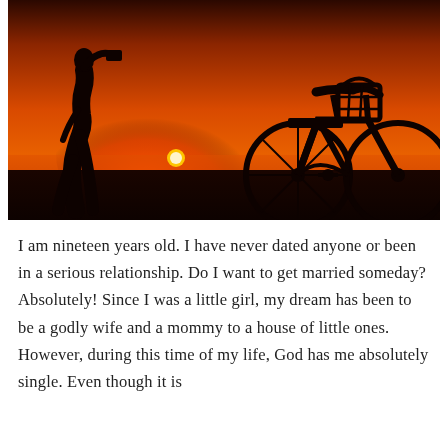[Figure (photo): Silhouette of a woman holding a camera to her face, standing next to a bicycle with a basket, against a vivid orange and red sunset sky with the sun visible as a bright circle through the bicycle wheel spokes.]
I am nineteen years old. I have never dated anyone or been in a serious relationship. Do I want to get married someday? Absolutely! Since I was a little girl, my dream has been to be a godly wife and a mommy to a house of little ones. However, during this time of my life, God has me absolutely single. Even though it is